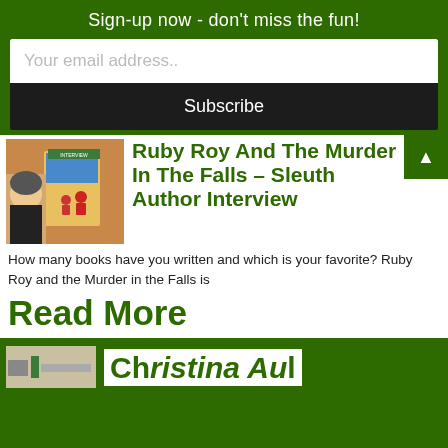Sign-up now - don't miss the fun!
Your email address..
Subscribe
Ruby Roy And The Murder In The Falls – Sleuth Author Interview
How many books have you written and which is your favorite? Ruby Roy and the Murder in the Falls is
Read More
[Figure (photo): Thumbnail image of book cover and author photo for Ruby Roy and the Murder in the Falls]
[Figure (photo): Thumbnail image for a second article (partially visible at bottom)]